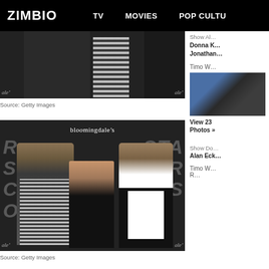ZIMBIO  TV  MOVIES  POP CULTU
[Figure (photo): Partial cropped photo of people at a Bloomingdale's Star Wars event, showing striped shirt and dark jackets]
Source: Getty Images
Show Al...
Donna K...
Jonathan...
[Figure (photo): Three people posing at a Bloomingdale's Star Wars event. Two men and a woman in the center. Background shows bloomingdale's logo and Star Wars Force text.]
Source: Getty Images
Timo W...
View 23
Photos »
Show Do...
Alan Eck...
[Figure (photo): Partial photo at bottom with golden/warm tones, appears to be another event photo]